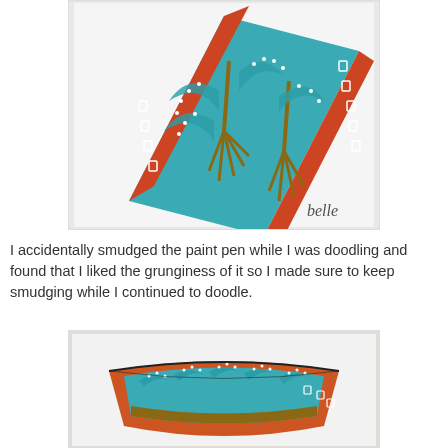[Figure (photo): A decorative box or book covered in colorful African wax print fabric pattern — teal, red/orange, and gold colors with tree and dot motifs — photographed at an angle. Watermark text 'belle' in the lower right corner.]
I accidentally smudged the paint pen while I was doodling and found that I liked the grunginess of it so I made sure to keep smudging while I continued to doodle.
[Figure (photo): A small ceramic or fabric bowl decorated with colorful African wax print pattern in teal, orange/red, and gold with arch/tree motifs and white dots, photographed straight on against a light background.]